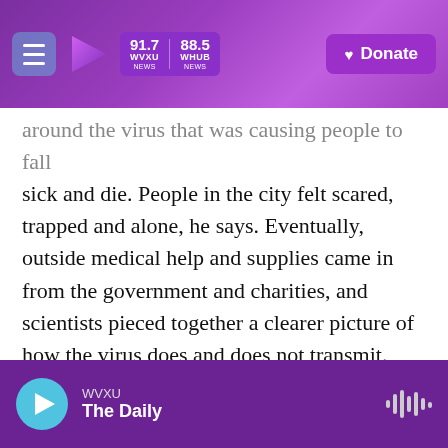91.7 WVXU NEWS | 88.5 WHUB NEWS | Donate
around the virus that was causing people to fall sick and die. People in the city felt scared, trapped and alone, he says. Eventually, outside medical help and supplies came in from the government and charities, and scientists pieced together a clearer picture of how the virus does and does not transmit.
Xi started a Facebook group called Quarantine Wuhan where he posted dispatches and answered questions about life under lockdown and shared tips on staying sane as other countries began issuing stay-at-home orders. He counseled people to...
WVXU | The Daily